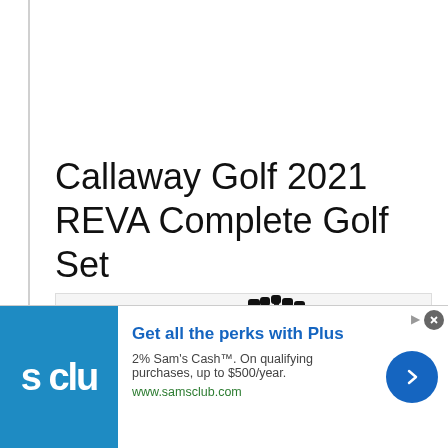Callaway Golf 2021 REVA Complete Golf Set
[Figure (photo): Product photo of Callaway Golf 2021 REVA Complete Golf Set — black golf bag with clubs visible at the top, shown against a light grey/white background]
[Figure (infographic): Advertisement banner for Sam's Club: blue logo panel on left showing 's clu' text, headline 'Get all the perks with Plus', subtext '2% Sam's Cash™. On qualifying purchases, up to $500/year.', URL 'www.samsclub.com', blue circular arrow button on right. AdChoices icon top right.]